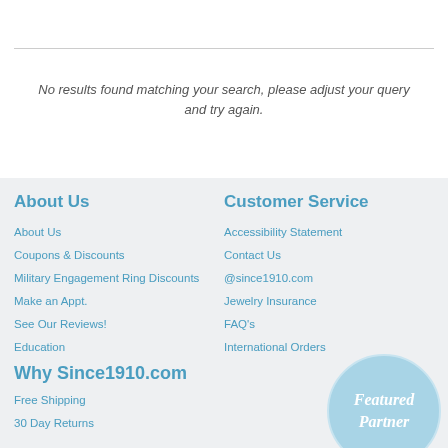No results found matching your search, please adjust your query and try again.
About Us
Customer Service
About Us
Coupons & Discounts
Military Engagement Ring Discounts
Make an Appt.
See Our Reviews!
Education
Accessibility Statement
Contact Us
@since1910.com
Jewelry Insurance
FAQ's
International Orders
Why Since1910.com
Free Shipping
30 Day Returns
[Figure (illustration): Light blue oval badge with italic text reading 'Featured Partner']